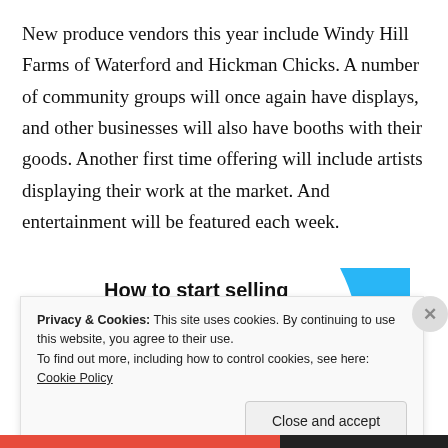New produce vendors this year include Windy Hill Farms of Waterford and Hickman Chicks. A number of community groups will once again have displays, and other businesses will also have booths with their goods. Another first time offering will include artists displaying their work at the market. And entertainment will be featured each week.
[Figure (infographic): Advertisement banner: 'How to start selling subscriptions online' with a blue geometric shape and a purple button]
Privacy & Cookies: This site uses cookies. By continuing to use this website, you agree to their use. To find out more, including how to control cookies, see here: Cookie Policy
Close and accept